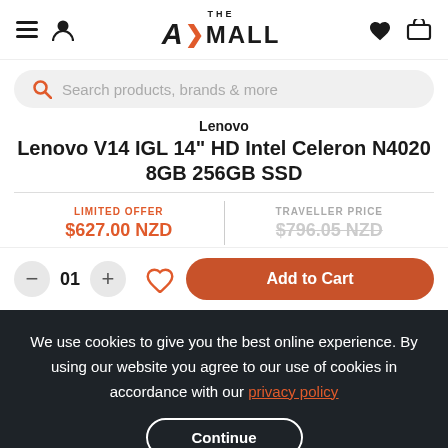THE MALL — navigation header with hamburger, user icon, logo, heart, cart
Search products, brands & more
Lenovo
Lenovo V14 IGL 14" HD Intel Celeron N4020 8GB 256GB SSD
LIMITED OFFER $627.00 NZD | TRAVELLER PRICE $796.05 NZD
01 — quantity selector with Add to Cart button
We use cookies to give you the best online experience. By using our website you agree to our use of cookies in accordance with our privacy policy
Continue